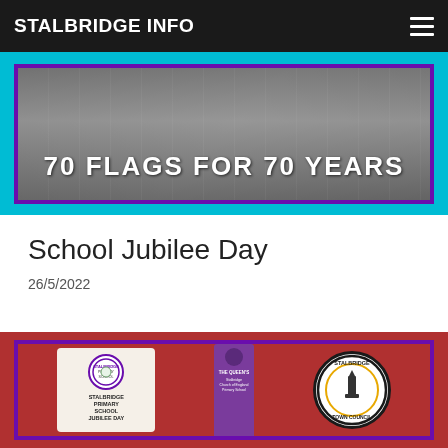STALBRIDGE INFO
[Figure (photo): Banner image showing '70 FLAGS FOR 70 YEARS' text overlay on a street scene with people, framed by a purple border on a cyan background]
School Jubilee Day
26/5/2022
[Figure (photo): Photo of Stalbridge Primary School Jubilee Day bookmarks/cards on a red background with purple border. Shows a cream-coloured bookmark with Stalbridge Primary School logo and text 'STALBRIDGE PRIMARY SCHOOL JUBILEE DAY', a purple ribbon bookmark, and the Stalbridge Town Council circular badge.]